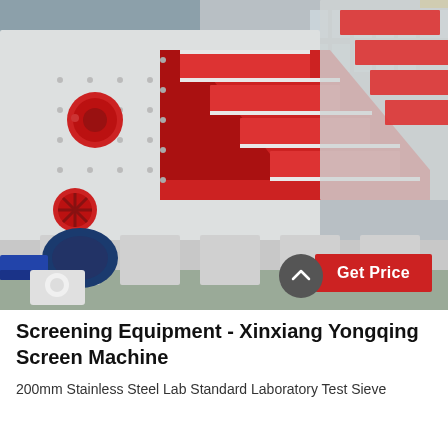[Figure (photo): Industrial screening/vibrating sieve machines in white and red colors parked outdoors in front of a factory building. Red circular caps on white frames, blue motor visible at lower left. A red 'Get Price' button overlays the lower right corner.]
Screening Equipment - Xinxiang Yongqing Screen Machine
200mm Stainless Steel Lab Standard Laboratory Test Sieve